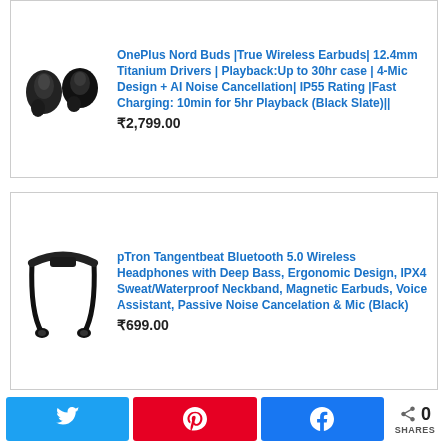[Figure (photo): OnePlus Nord Buds true wireless earbuds product image, black color]
OnePlus Nord Buds |True Wireless Earbuds| 12.4mm Titanium Drivers | Playback:Up to 30hr case | 4-Mic Design + AI Noise Cancellation| IP55 Rating |Fast Charging: 10min for 5hr Playback (Black Slate)||
₹2,799.00
[Figure (photo): pTron Tangentbeat Bluetooth neckband headphones product image, black color]
pTron Tangentbeat Bluetooth 5.0 Wireless Headphones with Deep Bass, Ergonomic Design, IPX4 Sweat/Waterproof Neckband, Magnetic Earbuds, Voice Assistant, Passive Noise Cancelation & Mic (Black)
₹699.00
0 SHARES